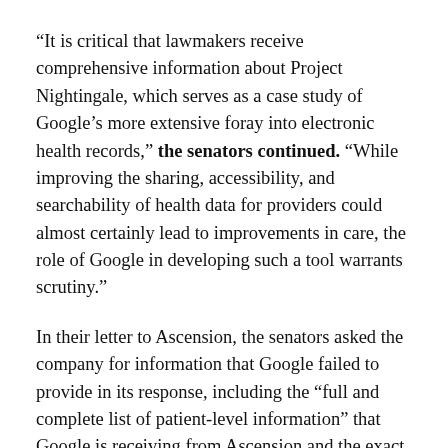“It is critical that lawmakers receive comprehensive information about Project Nightingale, which serves as a case study of Google’s more extensive foray into electronic health records,” the senators continued. “While improving the sharing, accessibility, and searchability of health data for providers could almost certainly lead to improvements in care, the role of Google in developing such a tool warrants scrutiny.”
In their letter to Ascension, the senators asked the company for information that Google failed to provide in its response, including the “full and complete list of patient-level information” that Google is receiving from Ascension and the exact number of health records that Google had received under Project Nightingale. The lawmakers asked Ascension to respond to their inquiry by no later than March 23, 2020.